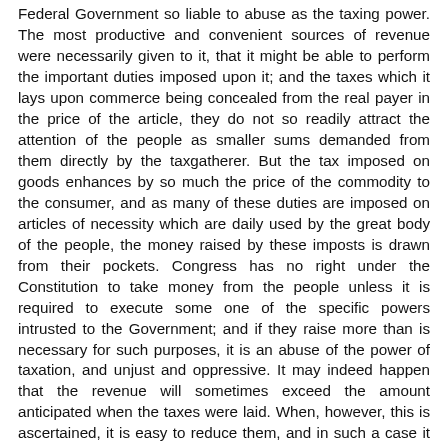Federal Government so liable to abuse as the taxing power. The most productive and convenient sources of revenue were necessarily given to it, that it might be able to perform the important duties imposed upon it; and the taxes which it lays upon commerce being concealed from the real payer in the price of the article, they do not so readily attract the attention of the people as smaller sums demanded from them directly by the taxgatherer. But the tax imposed on goods enhances by so much the price of the commodity to the consumer, and as many of these duties are imposed on articles of necessity which are daily used by the great body of the people, the money raised by these imposts is drawn from their pockets. Congress has no right under the Constitution to take money from the people unless it is required to execute some one of the specific powers intrusted to the Government; and if they raise more than is necessary for such purposes, it is an abuse of the power of taxation, and unjust and oppressive. It may indeed happen that the revenue will sometimes exceed the amount anticipated when the taxes were laid. When, however, this is ascertained, it is easy to reduce them, and in such a case it is unquestionably the duty of the Government to reduce them, for no circumstances can justify it in assuming a power not given to it by the Constitution nor in taking away the money of the people when it is not needed for the legitimate wants of the Government.